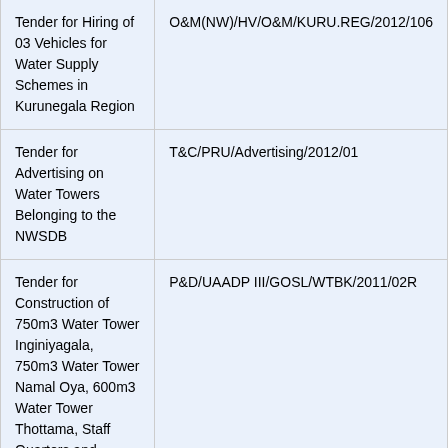| Tender Description | Reference |
| --- | --- |
| Tender for Hiring of 03 Vehicles for Water Supply Schemes in Kurunegala Region | O&M(NW)/HV/O&M/KURU.REG/2012/106 |
| Tender for Advertising on Water Towers Belonging to the NWSDB | T&C/PRU/Advertising/2012/01 |
| Tender for Construction of 750m3 Water Tower Inginiyagala, 750m3 Water Tower Namal Oya, 600m3 Water Tower Thottama, Staff Quarters and Ancillary Works Integrated Water Supply Scheme for Un-Served Areas of Ampara District - Phase III Project | P&D/UAADP III/GOSL/WTBK/2011/02R |
| Tender for Construction Office |  |